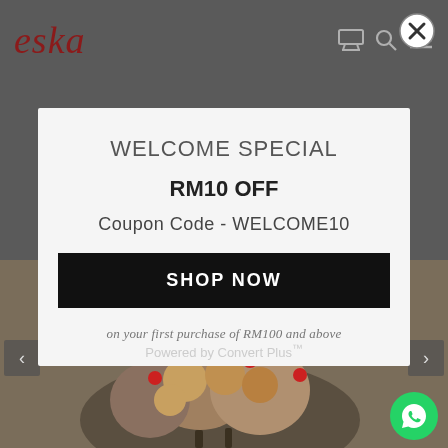eska
[Figure (screenshot): Close button (X in a circle) at top right]
WELCOME SPECIAL
RM10 OFF
Coupon Code - WELCOME10
SHOP NOW
on your first purchase of RM100 and above
Powered by Convert Plus™
[Figure (photo): Background photo of flower bouquet with chocolate truffles and red flowers, partially visible behind popup modal]